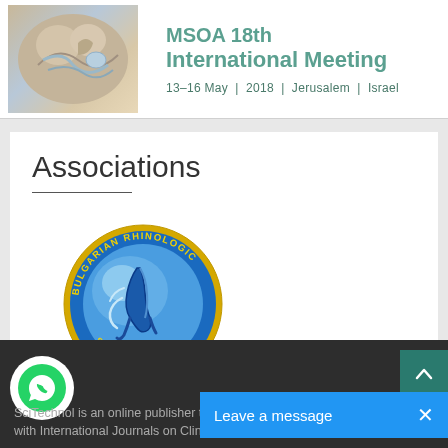[Figure (illustration): MSOA 18th International Meeting banner with anatomical skull/ear illustration and text '13-16 May | 2018 | Jerusalem | Israel']
Associations
[Figure (logo): Bulgarian Rhinologic Society circular logo with blue background and nose/airway illustration with yellow circular text border]
SciTechnol is an online publisher th... with International Journals on Clinical, Medical, Environmental...
Leave a message